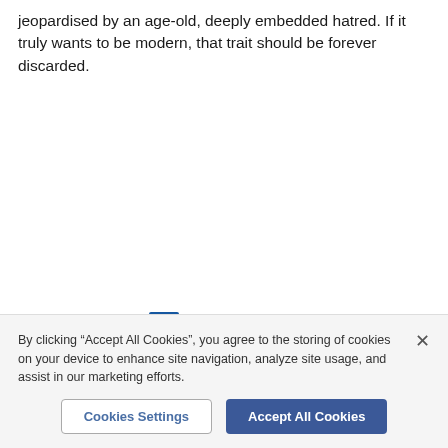jeopardised by an age-old, deeply embedded hatred. If it truly wants to be modern, that trait should be forever discarded.
[Figure (other): Comments icon (speech bubble) inside a bordered box with the label 'Comments' below it in blue text.]
All Comments 0
By clicking “Accept All Cookies”, you agree to the storing of cookies on your device to enhance site navigation, analyze site usage, and assist in our marketing efforts.